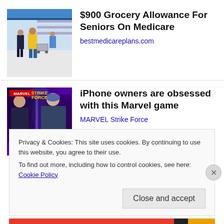[Figure (photo): Grocery store interior with shoppers pushing carts]
$900 Grocery Allowance For Seniors On Medicare
bestmedicareplans.com
[Figure (photo): MARVEL Strike Force game promotional image showing Kyrie and Mighty Thor characters with star ratings]
iPhone owners are obsessed with this Marvel game
MARVEL Strike Force
Privacy & Cookies: This site uses cookies. By continuing to use this website, you agree to their use.
To find out more, including how to control cookies, see here: Cookie Policy
Close and accept